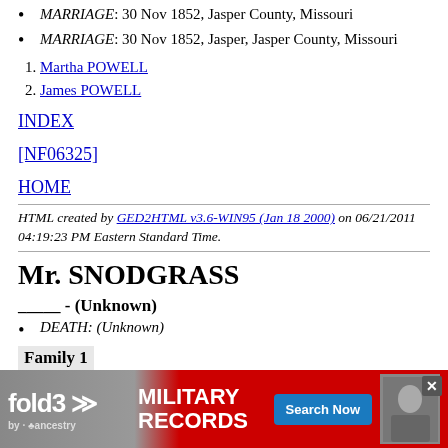MARRIAGE: 30 Nov 1852, Jasper County, Missouri
MARRIAGE: 30 Nov 1852, Jasper, Jasper County, Missouri
1. Martha POWELL
2. James POWELL
INDEX
[NF06325]
HOME
HTML created by GED2HTML v3.6-WIN95 (Jan 18 2000) on 06/21/2011 04:19:23 PM Eastern Standard Time.
Mr. SNODGRASS
_____ - (Unknown)
DEATH: (Unknown)
Family 1